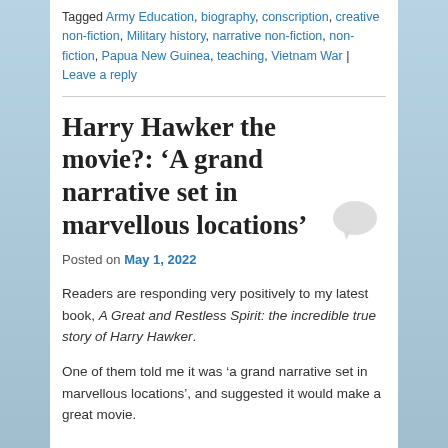Tagged Army Education, biography, conscription, creative non-fiction, Military history, narrative non-fiction, non-fiction, Papua New Guinea, teaching, Vietnam War | Leave a reply
Harry Hawker the movie?: ‘A grand narrative set in marvellous locations’
Posted on May 1, 2022
Readers are responding very positively to my latest book, A Great and Restless Spirit: the incredible true story of Harry Hawker.
One of them told me it was ‘a grand narrative set in marvellous locations’, and suggested it would make a great movie.